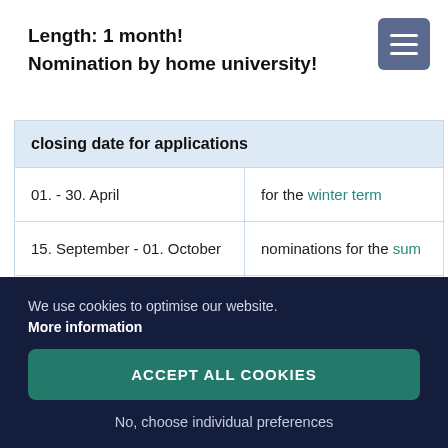Length: 1 month!
Nomination by home university!
| closing date for applications |  |
| --- | --- |
| 01. - 30. April | for the winter term |
| 15. September - 01. October | nominations for the sum… |
| 15. September - 15. October | applications for the sum… |
We use cookies to optimise our website.
More information
ACCEPT ALL COOKIES
No, choose individual preferences